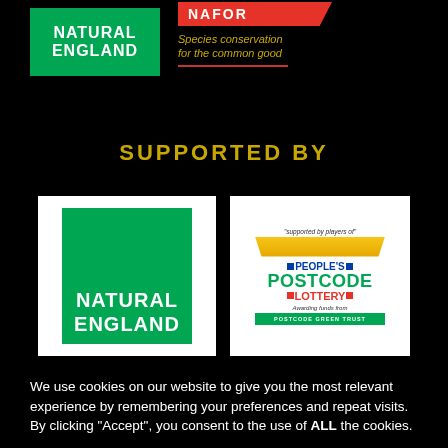[Figure (logo): Natural England green logo top left and NAFOR red banner with tagline 'Species conservation for the common good']
SUPPORTED BY
[Figure (logo): Natural England green logo in white box]
[Figure (logo): People's Postcode Lottery - Postcode Green Trust logo in white box]
We use cookies on our website to give you the most relevant experience by remembering your preferences and repeat visits. By clicking “Accept”, you consent to the use of ALL the cookies.
Cookie settings  Accept